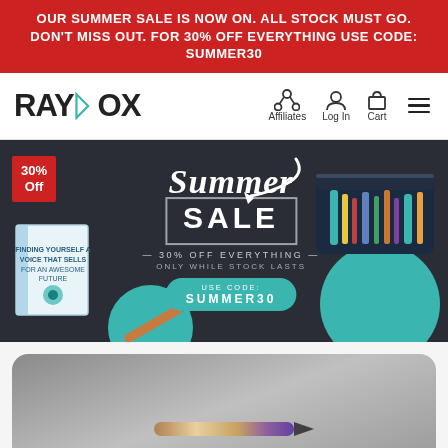OUR SUMMER SALE IS NOW ON. ALL STOCK MUST GO. DON'T MISS OUT. FOR 30% OFF EVERYTHING USE CODE: SUMMER30
[Figure (screenshot): Rayvox website navigation bar with logo, Affiliates, Log In, Cart icons and hamburger menu]
[Figure (infographic): Summer Sale hero banner on dark background. 30% Off badge top left. Center text: Summer Sale, 30% Off Everything, Only While Stock Lasts, Use Code: SUMMER30. Teal circles, product images (book, pen, pencil case), arrow decoration.]
[Figure (photo): Bottom portion showing a pen/marker on a dark gray textured background, rounded corners on the card]